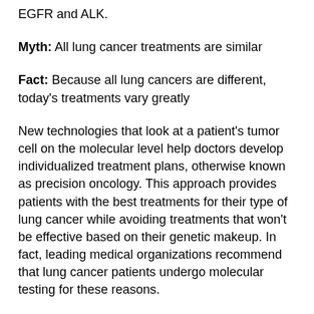EGFR and ALK.
Myth: All lung cancer treatments are similar
Fact: Because all lung cancers are different, today's treatments vary greatly
New technologies that look at a patient's tumor cell on the molecular level help doctors develop individualized treatment plans, otherwise known as precision oncology. This approach provides patients with the best treatments for their type of lung cancer while avoiding treatments that won't be effective based on their genetic makeup. In fact, leading medical organizations recommend that lung cancer patients undergo molecular testing for these reasons.
“My advice for someone who is just being diagnosed with lung